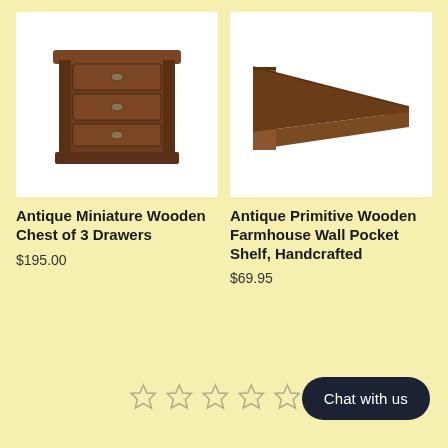[Figure (photo): Antique miniature wooden chest of 3 drawers with metal hardware, dark brown wood finish, photographed on white background]
Antique Miniature Wooden Chest of 3 Drawers
$195.00
[Figure (photo): Antique primitive wooden farmhouse wall pocket shelf, triangular trough shape, dark brown wood, handcrafted, photographed on white background]
Antique Primitive Wooden Farmhouse Wall Pocket Shelf, Handcrafted
$69.95
[Figure (other): Five empty star rating icons in a row]
Chat with us